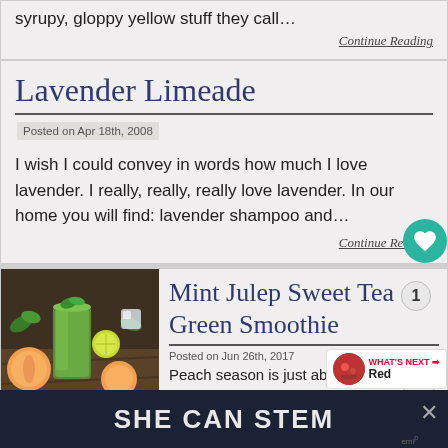syrupy, gloppy yellow stuff they call…
Continue Reading
Lavender Limeade
Posted on Apr 18th, 2008
I wish I could convey in words how much I love lavender. I really, really, really love lavender. In our home you will find: lavender shampoo and…
Continue Reading
[Figure (photo): Green smoothie in a glass surrounded by peaches, limes, and mint leaves on a wooden surface]
Mint Julep Sweet Tea Green Smoothie
Posted on Jun 26th, 2017
Peach season is just about
SHE CAN STEM